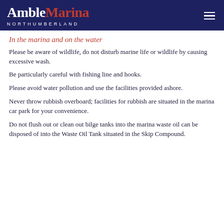Amble Marina NORTHUMBERLAND
In the marina and on the water
Please be aware of wildlife, do not disturb marine life or wildlife by causing excessive wash.
Be particularly careful with fishing line and hooks.
Please avoid water pollution and use the facilities provided ashore.
Never throw rubbish overboard; facilities for rubbish are situated in the marina car park for your convenience.
Do not flush out or clean out bilge tanks into the marina waste oil can be disposed of into the Waste Oil Tank situated in the Skip Compound.